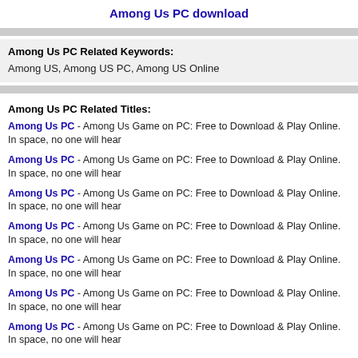Among Us PC download
Among Us PC Related Keywords:
Among US, Among US PC, Among US Online
Among Us PC Related Titles:
Among Us PC - Among Us Game on PC: Free to Download & Play Online. In space, no one will hear
Among Us PC - Among Us Game on PC: Free to Download & Play Online. In space, no one will hear
Among Us PC - Among Us Game on PC: Free to Download & Play Online. In space, no one will hear
Among Us PC - Among Us Game on PC: Free to Download & Play Online. In space, no one will hear
Among Us PC - Among Us Game on PC: Free to Download & Play Online. In space, no one will hear
Among Us PC - Among Us Game on PC: Free to Download & Play Online. In space, no one will hear
Among Us PC - Among Us Game on PC: Free to Download & Play Online. In space, no one will hear